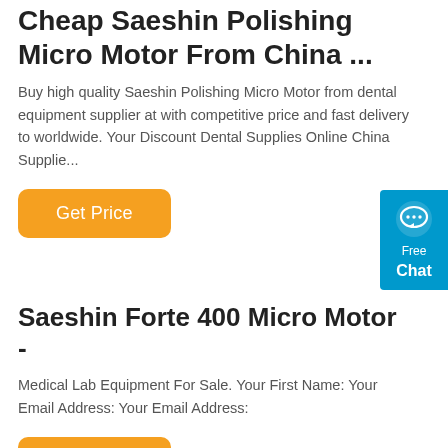Cheap Saeshin Polishing Micro Motor From China ...
Buy high quality Saeshin Polishing Micro Motor from dental equipment supplier at with competitive price and fast delivery to worldwide. Your Discount Dental Supplies Online China Supplie...
[Figure (other): Orange 'Get Price' button (rounded rectangle, orange background, white text)]
Saeshin Forte 400 Micro Motor -
Medical Lab Equipment For Sale. Your First Name: Your Email Address: Your Email Address:
[Figure (other): Orange 'Get Price' button (rounded rectangle, orange background, white text)]
[Figure (other): Blue chat widget in upper-right corner with speech bubble icon, text 'Free Chat']